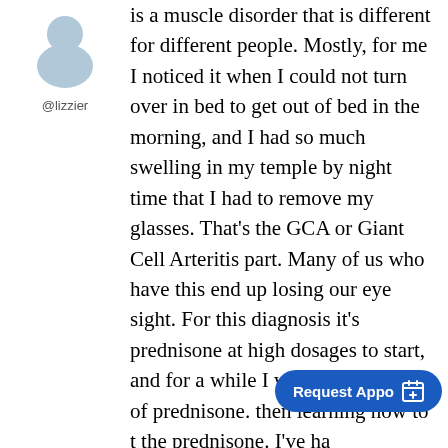[Figure (illustration): Generic user avatar placeholder icon in light blue/gray color]
@lizzier
is a muscle disorder that is different for different people. Mostly, for me I noticed it when I could not turn over in bed to get out of bed in the morning, and I had so much swelling in my temple by night time that I had to remove my glasses. That's the GCA or Giant Cell Arteritis part. Many of us who have this end up losing our eye sight. For this diagnosis it's prednisone at high dosages to start, and for a while I was on high doses of prednisone. then learning how to t the prednisone. I've ha